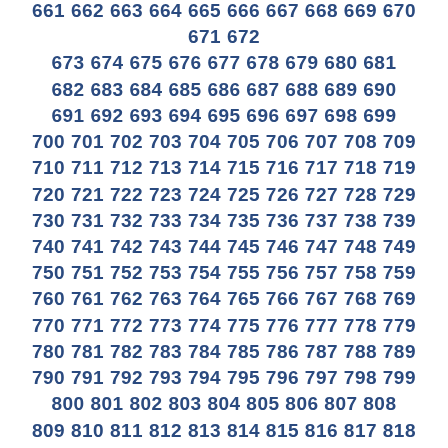673 674 675 676 677 678 679 680 681 682 683 684 685 686 687 688 689 690 691 692 693 694 695 696 697 698 699 700 701 702 703 704 705 706 707 708 709 710 711 712 713 714 715 716 717 718 719 720 721 722 723 724 725 726 727 728 729 730 731 732 733 734 735 736 737 738 739 740 741 742 743 744 745 746 747 748 749 750 751 752 753 754 755 756 757 758 759 760 761 762 763 764 765 766 767 768 769 770 771 772 773 774 775 776 777 778 779 780 781 782 783 784 785 786 787 788 789 790 791 792 793 794 795 796 797 798 799 800 801 802 803 804 805 806 807 808 809 810 811 812 813 814 815 816 817 818 819 820 821 822 823 824 825 826 827 828 829 830 831 832 833 834 835 836 837 838 839 840 841 842 843 844 845 846 847 848 849 850 851 852 853 854 855 856 857 858 859 860 861 862 863 864 865 866 867 868 869 870 871 872